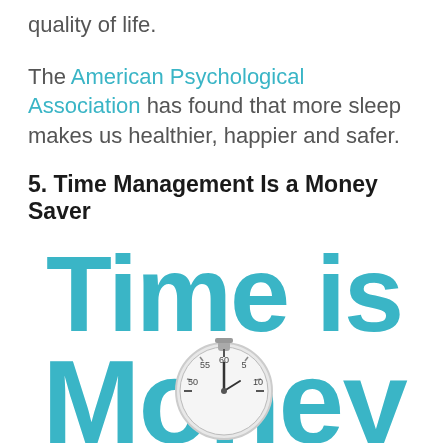quality of life.
The American Psychological Association has found that more sleep makes us healthier, happier and safer.
5. Time Management Is a Money Saver
[Figure (illustration): Large teal text reading 'Time is Money' with a stopwatch/clock image overlaid in the center. The text is very large and bold in teal/turquoise color.]